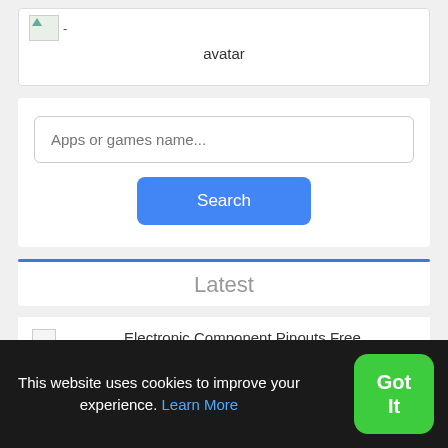[Figure (screenshot): Broken image placeholder with avatar label below it]
avatar
Apps or games name...
Search
Latest
[Figure (screenshot): Small broken image placeholder for Electronic Component Pinouts entry]
Electronic Component Pinouts
Electronic Component Pinouts Free
This website uses cookies to improve your experience. Learn More
Got It